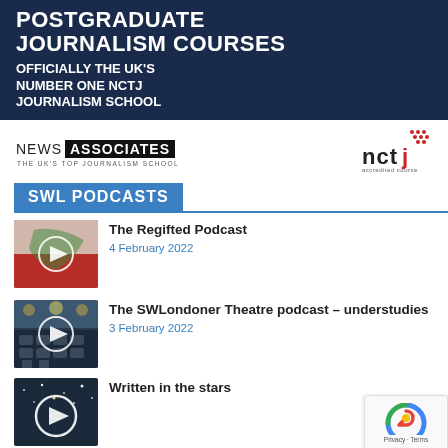[Figure (illustration): Dark navy blue banner for postgraduate journalism courses]
POSTGRADUATE JOURNALISM COURSES
OFFICIALLY THE UK'S NUMBER ONE NCTJ JOURNALISM SCHOOL
[Figure (logo): News Associates logo - UK's Top Journalism School]
[Figure (logo): NCTJ accredited course logo with red dots]
SWL PODCASTS
[Figure (photo): Thumbnail image with play button for The Regifted Podcast]
The Regifted Podcast
4 February 2022
[Figure (photo): Thumbnail image with play button for The SWLondoner Theatre podcast – understudies]
The SWLondoner Theatre podcast – understudies
3 February 2022
[Figure (photo): Thumbnail image with play button for Written in the stars]
Written in the stars
[Figure (other): reCAPTCHA privacy badge in bottom right corner]